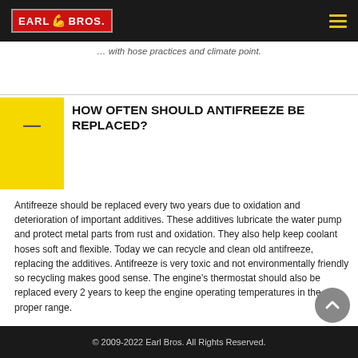EARL BROS.
... with hose practices and climate point.
HOW OFTEN SHOULD ANTIFREEZE BE REPLACED?
Antifreeze should be replaced every two years due to oxidation and deterioration of important additives. These additives lubricate the water pump and protect metal parts from rust and oxidation. They also help keep coolant hoses soft and flexible. Today we can recycle and clean old antifreeze, replacing the additives. Antifreeze is very toxic and not environmentally friendly so recycling makes good sense. The engine’s thermostat should also be replaced every 2 years to keep the engine operating temperatures in the proper range.
© 2009-2022 Earl Bros. All Rights Reserved.